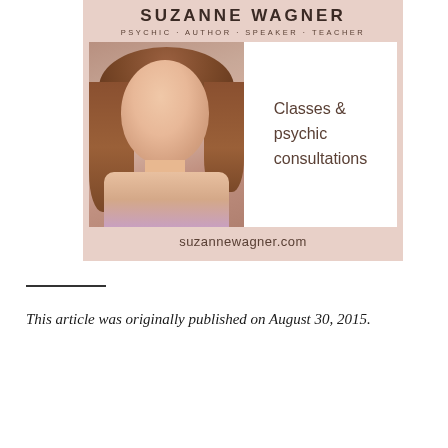[Figure (infographic): Advertisement for Suzanne Wagner – Psychic, Author, Speaker, Teacher. Shows her photo on the left and text 'Classes & psychic consultations' on the right, with website suzannewagner.com at the bottom. Pink/mauve background.]
This article was originally published on August 30, 2015.